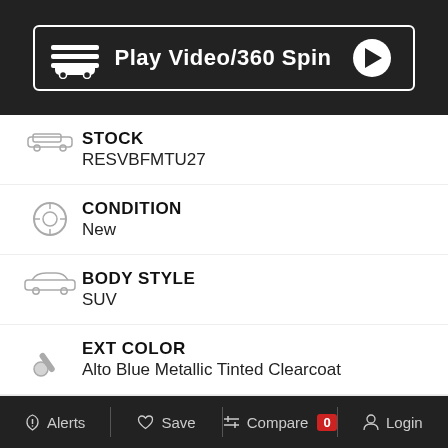[Figure (screenshot): Play Video/360 Spin button with car silhouette icon and play circle button on dark background]
STOCK
RESVBFMTU27
CONDITION
New
BODY STYLE
SUV
EXT COLOR
Alto Blue Metallic Tinted Clearcoat
Mechanical
Alerts   Save   Compare 0   Login